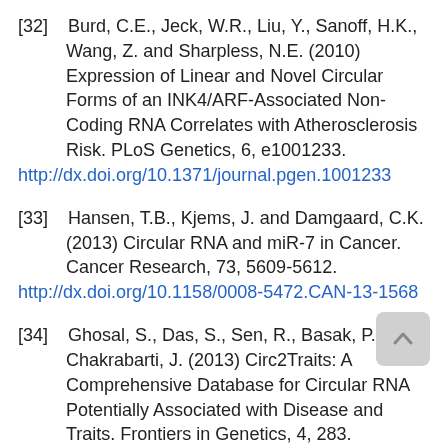[32]   Burd, C.E., Jeck, W.R., Liu, Y., Sanoff, H.K., Wang, Z. and Sharpless, N.E. (2010) Expression of Linear and Novel Circular Forms of an INK4/ARF-Associated Non-Coding RNA Correlates with Atherosclerosis Risk. PLoS Genetics, 6, e1001233. http://dx.doi.org/10.1371/journal.pgen.1001233
[33]   Hansen, T.B., Kjems, J. and Damgaard, C.K. (2013) Circular RNA and miR-7 in Cancer. Cancer Research, 73, 5609-5612. http://dx.doi.org/10.1158/0008-5472.CAN-13-1568
[34]   Ghosal, S., Das, S., Sen, R., Basak, P. and Chakrabarti, J. (2013) Circ2Traits: A Comprehensive Database for Circular RNA Potentially Associated with Disease and Traits. Frontiers in Genetics, 4, 283. http://dx.doi.org/10.3389/fgene.2013.00283
[35]   Costa-Pinheiro, P., Ramalho-Carvalho, J.